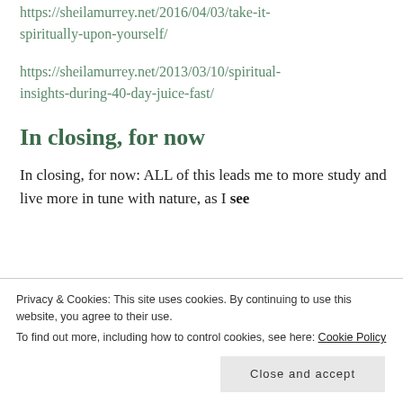https://sheilamurrey.net/2016/04/03/take-it-spiritually-upon-yourself/
https://sheilamurrey.net/2013/03/10/spiritual-insights-during-40-day-juice-fast/
In closing, for now
In closing, for now: ALL of this leads me to more study and live more in tune with nature, as I see
Privacy & Cookies: This site uses cookies. By continuing to use this website, you agree to their use.
To find out more, including how to control cookies, see here: Cookie Policy